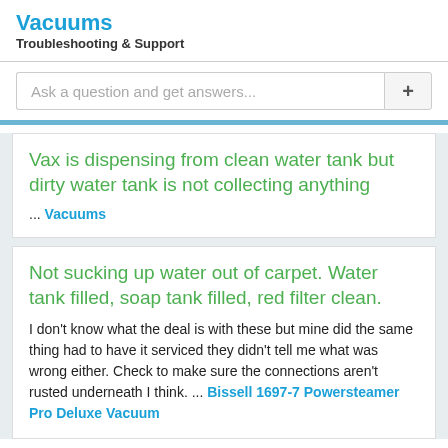Vacuums
Troubleshooting & Support
Ask a question and get answers...
Vax is dispensing from clean water tank but dirty water tank is not collecting anything ... Vacuums
Not sucking up water out of carpet. Water tank filled, soap tank filled, red filter clean.
I don't know what the deal is with these but mine did the same thing had to have it serviced they didn't tell me what was wrong either. Check to make sure the connections aren't rusted underneath I think. ... Bissell 1697-7 Powersteamer Pro Deluxe Vacuum